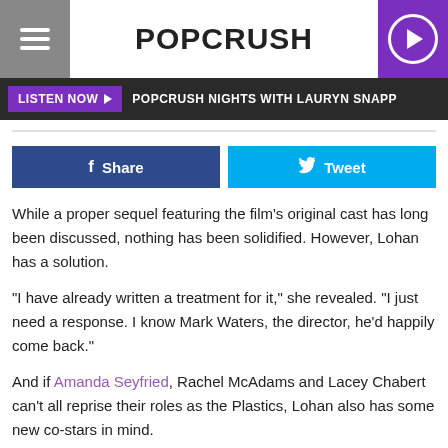POPCRUSH
LISTEN NOW ▶  POPCRUSH NIGHTS WITH LAURYN SNAPP
Share  Tweet
While a proper sequel featuring the film's original cast has long been discussed, nothing has been solidified. However, Lohan has a solution.
"I have already written a treatment for it," she revealed. "I just need a response. I know Mark Waters, the director, he'd happily come back."
And if Amanda Seyfried, Rachel McAdams and Lacey Chabert can't all reprise their roles as the Plastics, Lohan also has some new co-stars in mind.